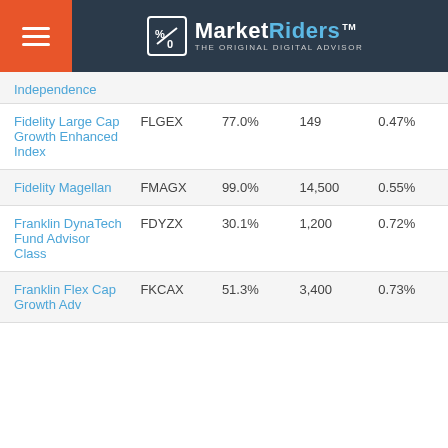MarketRiders — THE ORIGINAL DIGITAL ADVISOR
| Fund Name | Ticker | Stock % | # Holdings | Expense Ratio |
| --- | --- | --- | --- | --- |
| Independence |  |  |  |  |
| Fidelity Large Cap Growth Enhanced Index | FLGEX | 77.0% | 149 | 0.47% |
| Fidelity Magellan | FMAGX | 99.0% | 14,500 | 0.55% |
| Franklin DynaTech Fund Advisor Class | FDYZX | 30.1% | 1,200 | 0.72% |
| Franklin Flex Cap Growth Adv | FKCAX | 51.3% | 3,400 | 0.73% |